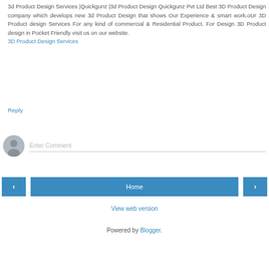3d Product Design Services |Quickgunz |3d Product Design Quickgunz Pvt Ltd Best 3D Product Design company which develops new 3d Product Design that shows Our Experience & smart work.oUr 3D Product design Services For any kind of commercial & Residential Product. For Design 3D Product design in Pocket Friendly visit us on our website.
3D Product Design Services
Reply
[Figure (illustration): Gray avatar/user profile icon placeholder circle]
Enter Comment
< Home >
View web version
Powered by Blogger.